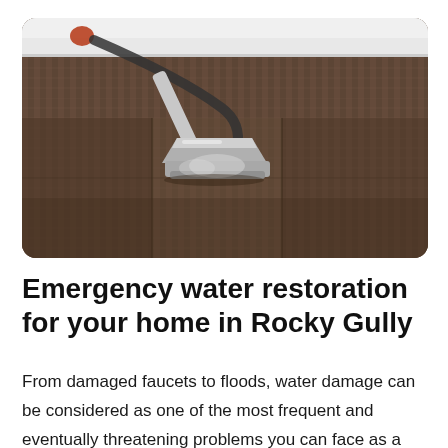[Figure (photo): A close-up photo of a carpet cleaning machine with a metal wand/head on a dark brown striped carpet, with steam visible and a white baseboard in the background.]
Emergency water restoration for your home in Rocky Gully
From damaged faucets to floods, water damage can be considered as one of the most frequent and eventually threatening problems you can face as a house owner. If not taken care of, the excess water in